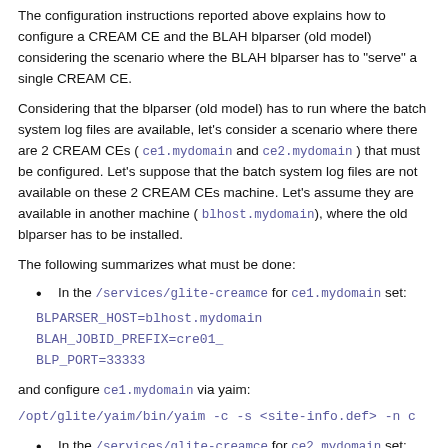The configuration instructions reported above explains how to configure a CREAM CE and the BLAH blparser (old model) considering the scenario where the BLAH blparser has to "serve" a single CREAM CE.
Considering that the blparser (old model) has to run where the batch system log files are available, let's consider a scenario where there are 2 CREAM CEs ( ce1.mydomain and ce2.mydomain ) that must be configured. Let's suppose that the batch system log files are not available on these 2 CREAM CEs machine. Let's assume they are available in another machine ( blhost.mydomain ), where the old blparser has to be installed.
The following summarizes what must be done:
In the /services/glite-creamce for ce1.mydomain set:
BLPARSER_HOST=blhost.mydomain
BLAH_JOBID_PREFIX=cre01_
BLP_PORT=33333
and configure ce1.mydomain via yaim:
/opt/glite/yaim/bin/yaim -c -s <site-info.def> -n c
In the /services/glite-creamce for ce2.mydomain set: